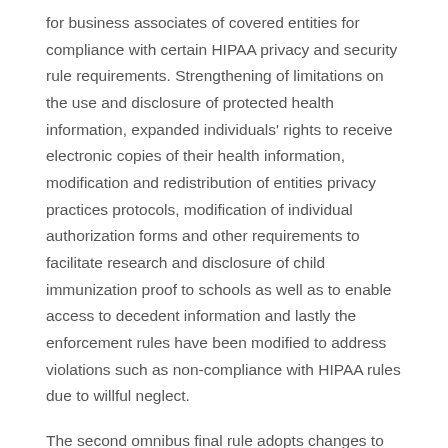for business associates of covered entities for compliance with certain HIPAA privacy and security rule requirements. Strengthening of limitations on the use and disclosure of protected health information, expanded individuals' rights to receive electronic copies of their health information, modification and redistribution of entities privacy practices protocols, modification of individual authorization forms and other requirements to facilitate research and disclosure of child immunization proof to schools as well as to enable access to decedent information and lastly the enforcement rules have been modified to address violations such as non-compliance with HIPAA rules due to willful neglect.
The second omnibus final rule adopts changes to the HIPAA enforcement rule that increase the civil monetary penalties in a tiered manner.